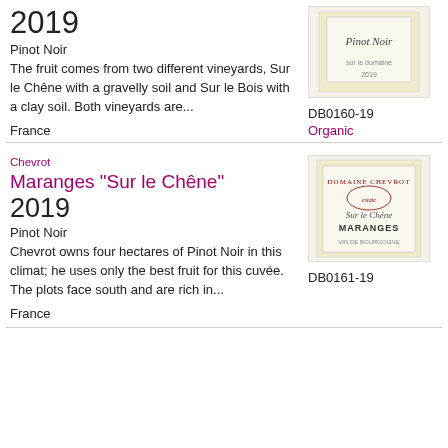2019
Pinot Noir
The fruit comes from two different vineyards, Sur le Chêne with a gravelly soil and Sur le Bois with a clay soil. Both vineyards are...
France
[Figure (photo): Wine bottle label for Pinot Noir]
DB0160-19
Organic
Chevrot
Maranges "Sur le Chêne" 2019
Pinot Noir
Chevrot owns four hectares of Pinot Noir in this climat; he uses only the best fruit for this cuvée. The plots face south and are rich in...
France
[Figure (photo): Wine bottle label for Maranges Sur le Chêne Domaine Chevrot]
DB0161-19